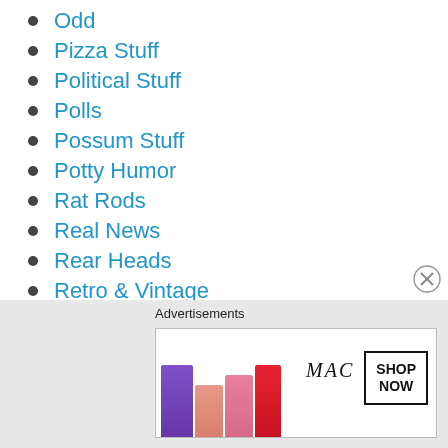Odd
Pizza Stuff
Political Stuff
Polls
Possum Stuff
Potty Humor
Rat Rods
Real News
Rear Heads
Retro & Vintage
Rhino Stuff
Robot Stuff
Saturday Matinee
[Figure (other): MAC cosmetics advertisement with lipsticks and SHOP NOW button]
Advertisements